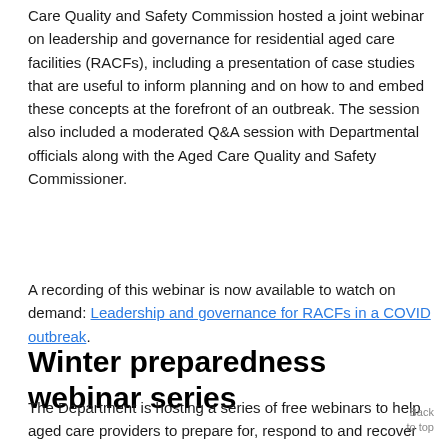Care Quality and Safety Commission hosted a joint webinar on leadership and governance for residential aged care facilities (RACFs), including a presentation of case studies that are useful to inform planning and on how to and embed these concepts at the forefront of an outbreak. The session also included a moderated Q&A session with Departmental officials along with the Aged Care Quality and Safety Commissioner.
A recording of this webinar is now available to watch on demand: Leadership and governance for RACFs in a COVID outbreak.
Winter preparedness webinar series
The Department is hosting a series of free webinars to help aged care providers to prepare for, respond to and recover from winter viruses such as influenza, as well as continuing